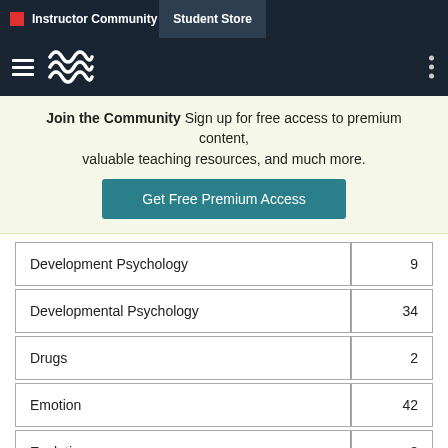Instructor Community | Student Store
Join the Community Sign up for free access to premium content, valuable teaching resources, and much more. Get Free Premium Access
| Category | Count |
| --- | --- |
| Development Psychology | 9 |
| Developmental Psychology | 34 |
| Drugs | 2 |
| Emotion | 42 |
| Evolution | 3 |
| Evolutionary Psychology | 5 |